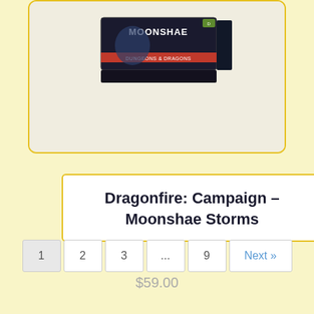[Figure (photo): Product box for Dragonfire: Campaign – Moonshae Storms board game, showing dark fantasy artwork with the Dungeons & Dragons logo]
Dragonfire: Campaign – Moonshae Storms
$59.00